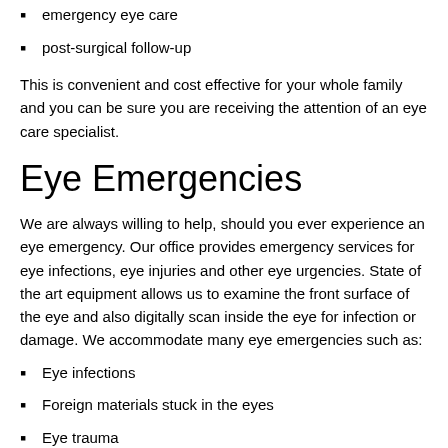emergency eye care
post-surgical follow-up
This is convenient and cost effective for your whole family and you can be sure you are receiving the attention of an eye care specialist.
Eye Emergencies
We are always willing to help, should you ever experience an eye emergency. Our office provides emergency services for eye infections, eye injuries and other eye urgencies. State of the art equipment allows us to examine the front surface of the eye and also digitally scan inside the eye for infection or damage. We accommodate many eye emergencies such as:
Eye infections
Foreign materials stuck in the eyes
Eye trauma
Scratched eyes
Sudden loss of vision in one or both eyes